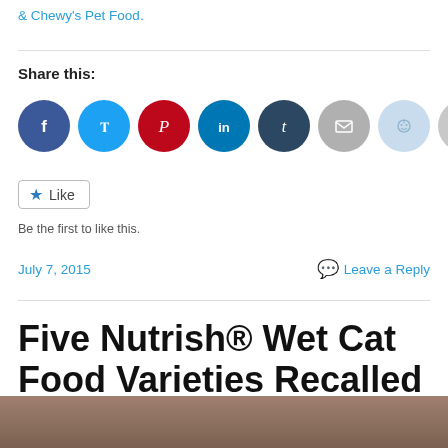& Chewy's Pet Food.
Share this:
[Figure (infographic): Social sharing icons: Facebook, Twitter, Pinterest, LinkedIn, Tumblr, Email, Reddit, Print]
Like
Be the first to like this.
July 7, 2015
Leave a Reply
Five Nutrish® Wet Cat Food Varieties Recalled
[Figure (photo): Partial photo of cat food product at bottom of page]